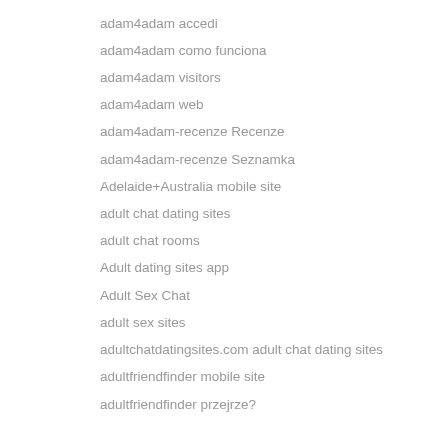adam4adam accedi
adam4adam como funciona
adam4adam visitors
adam4adam web
adam4adam-recenze Recenze
adam4adam-recenze Seznamka
Adelaide+Australia mobile site
adult chat dating sites
adult chat rooms
Adult dating sites app
Adult Sex Chat
adult sex sites
adultchatdatingsites.com adult chat dating sites
adultfriendfinder mobile site
adultfriendfinder przejrze?